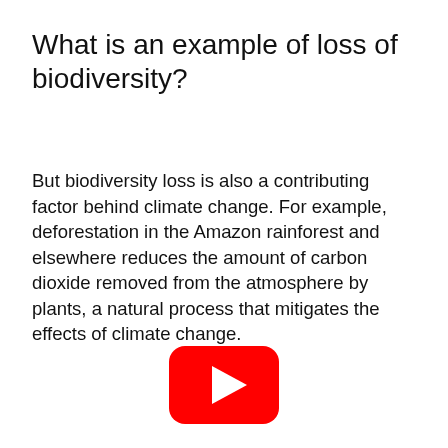What is an example of loss of biodiversity?
But biodiversity loss is also a contributing factor behind climate change. For example, deforestation in the Amazon rainforest and elsewhere reduces the amount of carbon dioxide removed from the atmosphere by plants, a natural process that mitigates the effects of climate change.
[Figure (other): YouTube play button logo — red rounded rectangle with white triangle play icon]